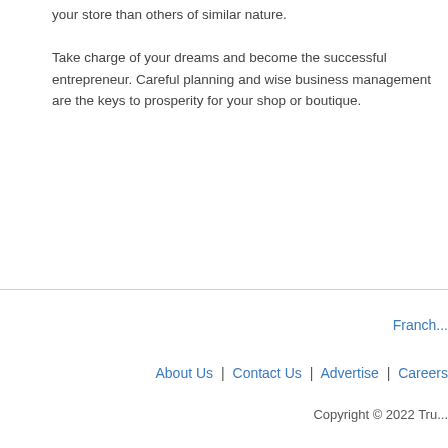your store than others of similar nature. Take charge of your dreams and become the successful entrepreneur. Careful planning and wise business management are the keys to prosperity for your shop or boutique.
Franch... | About Us | Contact Us | Advertise | Careers | Copyright © 2022 Tru...